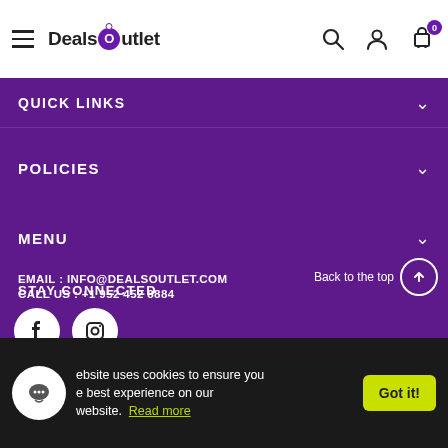Deals Outlet — navigation header with hamburger menu, logo, search, account, cart (0)
QUICK LINKS
POLICIES
MENU
STAY CONNECTED
[Figure (other): Facebook and Instagram social media icon buttons (white circles on purple background)]
EMAIL : INFO@DEALSOUTLET.COM
CALL US : +1 952 452 8884
Back to the top
website uses cookies to ensure you the best experience on our website. Read more
Got it!